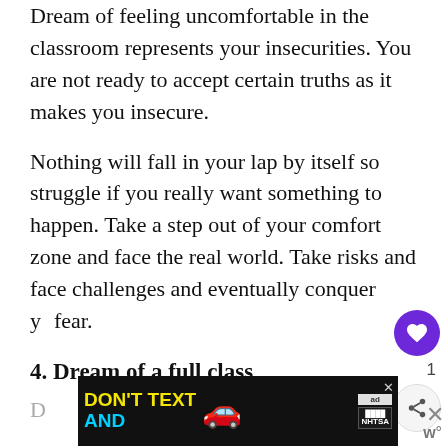Dream of feeling uncomfortable in the classroom represents your insecurities. You are not ready to accept certain truths as it makes you insecure.
Nothing will fall in your lap by itself so struggle if you really want something to happen. Take a step out of your comfort zone and face the real world. Take risks and face challenges and eventually conquer your fear.
4. Dream of a full class
D...
[Figure (other): Advertisement banner: DON'T TEXT AND [car image] with ad badge and NHTSA logo]